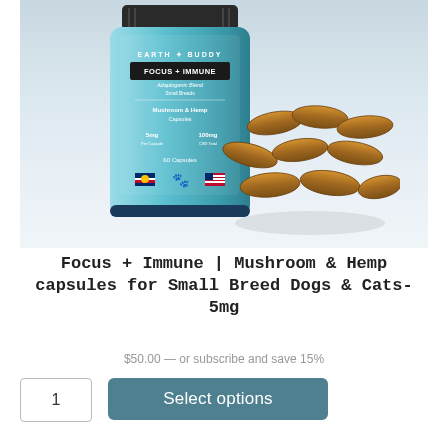[Figure (photo): Product photo of Earth Buddy Focus + Immune Mushroom & Hemp Capsules bottle (teal/blue) for Small Breeds, 5mg, 60 capsules, with scattered brown capsules in front, on a light grey/white gradient background.]
Focus + Immune | Mushroom & Hemp capsules for Small Breed Dogs & Cats- 5mg
$50.00 — or subscribe and save 15%
1
Select options